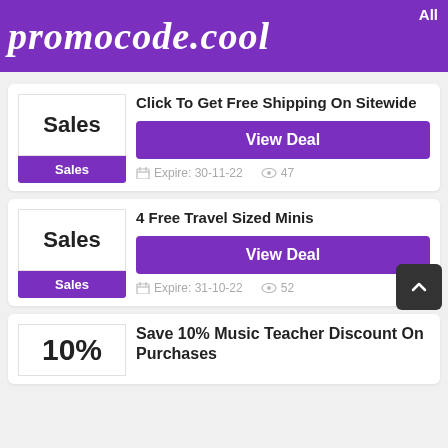promocode.cool
Click To Get Free Shipping On Sitewide
View Deal
Expire: 30-11-22   47
4 Free Travel Sized Minis
View Deal
Expire: 31-10-22   52
Save 10% Music Teacher Discount On Purchases